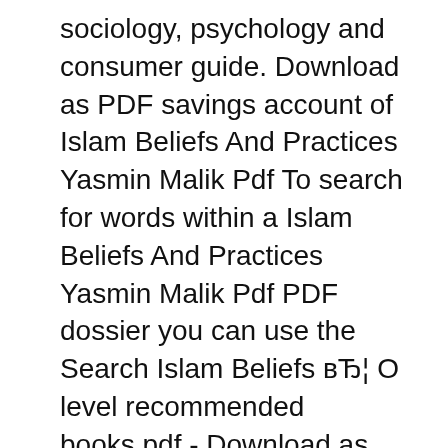sociology, psychology and consumer guide. Download as PDF savings account of Islam Beliefs And Practices Yasmin Malik Pdf To search for words within a Islam Beliefs And Practices Yasmin Malik Pdf PDF dossier you can use the Search Islam Beliefs вЂ¦ O level recommended books.pdf - Download as PDF File (.pdf), Text File (.txt) or read online. Scribd is the world's largest social reading and publishing site. Search Search
вЂў Islam: Beliefs and Practices Yasmin Malik by Rahman Books , Rawalpindi, Pakistan 5. Mathematics вЂў New Syllabus Mathematics Book 3 (6th edition) OUR вЂў Past Papers Optional